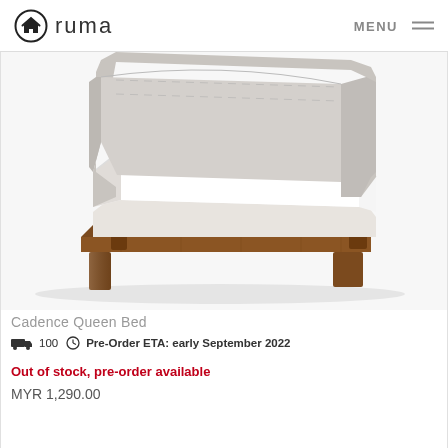ruma | MENU
[Figure (photo): Product photo of Cadence Queen Bed with upholstered headboard in light grey fabric, white mattress, and walnut wood frame legs, photographed on white background]
Cadence Queen Bed
100  Pre-Order ETA: early September 2022
Out of stock, pre-order available
MYR 1,290.00